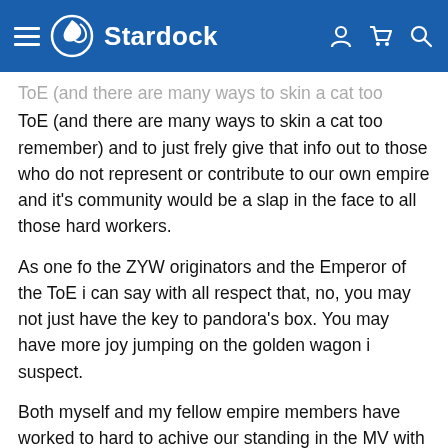Stardock
ToE (and there are many ways to skin a cat too remember) and to just frely give that info out to those who do not represent or contribute to our own empire and it's community would be a slap in the face to all those hard workers.
As one fo the ZYW originators and the Emperor of the ToE i can say with all respect that, no, you may not just have the key to pandora's box. You may have more joy jumping on the golden wagon i suspect.
Both myself and my fellow empire members have worked to hard to achive our standing in the MV with so little membership number to just freely give away all that we and those that have come before us have strived to achieve. We freely share our idea's and stragies to those whoi commit themselves to us and work to promote and